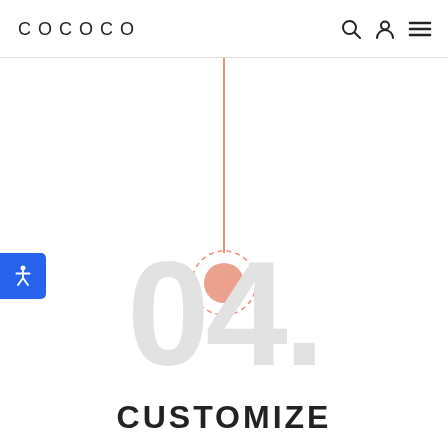COCOCO
[Figure (screenshot): Website navigation header with COCOCO logo on left, search icon, user icon, and hamburger menu icon on right]
[Figure (infographic): Vertical salmon/coral colored line with a dashed-circle and coral dot at the bottom center, representing a scroll or step indicator. Blue accessibility button on the left side.]
04.
CUSTOMIZE